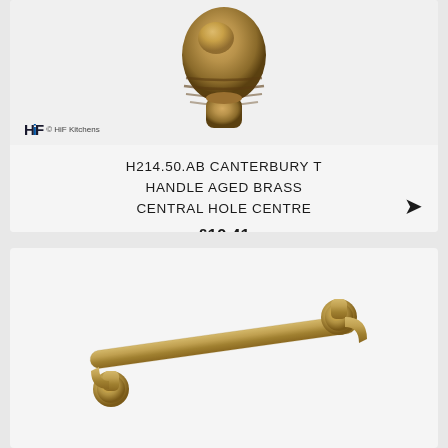[Figure (photo): Canterbury T Handle Aged Brass knob/top hardware piece, golden brass color with ridged texture, shown from above on light background. HiF Kitchens logo visible in lower left corner.]
H214.50.AB CANTERBURY T HANDLE AGED BRASS CENTRAL HOLE CENTRE
£10.41
[Figure (photo): Canterbury T Handle Aged Brass bar handle hardware, horizontal pull handle with cylindrical ends, aged brass / antique gold finish, shown diagonally on light background.]